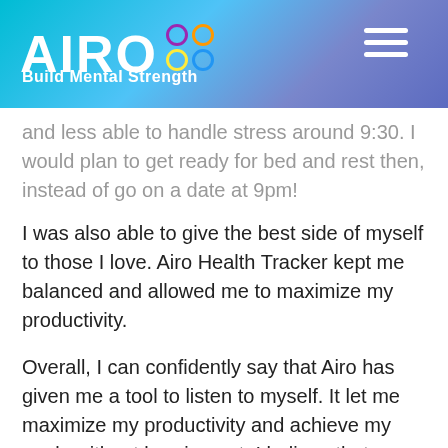AIRO Build Mental Strength
and less able to handle stress around 9:30. I would plan to get ready for bed and rest then, instead of go on a date at 9pm!
I was also able to give the best side of myself to those I love. Airo Health Tracker kept me balanced and allowed me to maximize my productivity.
Overall, I can confidently say that Airo has given me a tool to listen to myself. It let me maximize my productivity and achieve my goals without burning out. I believe that anyone who sees themselves as a high performer, who wants to go to the next level, and who does not want to lose themselves in the process should seriously consider Airo. Each of us